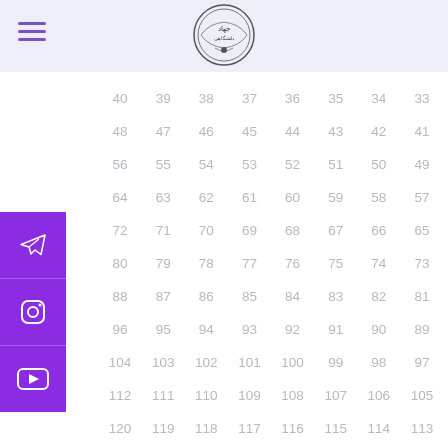Jihad Daneshgahi logo with hamburger menu
| 40 | 39 | 38 | 37 | 36 | 35 | 34 | 33 |
| 48 | 47 | 46 | 45 | 44 | 43 | 42 | 41 |
| 56 | 55 | 54 | 53 | 52 | 51 | 50 | 49 |
| 64 | 63 | 62 | 61 | 60 | 59 | 58 | 57 |
| 72 | 71 | 70 | 69 | 68 | 67 | 66 | 65 |
| 80 | 79 | 78 | 77 | 76 | 75 | 74 | 73 |
| 88 | 87 | 86 | 85 | 84 | 83 | 82 | 81 |
| 96 | 95 | 94 | 93 | 92 | 91 | 90 | 89 |
| 104 | 103 | 102 | 101 | 100 | 99 | 98 | 97 |
| 112 | 111 | 110 | 109 | 108 | 107 | 106 | 105 |
| 120 | 119 | 118 | 117 | 116 | 115 | 114 | 113 |